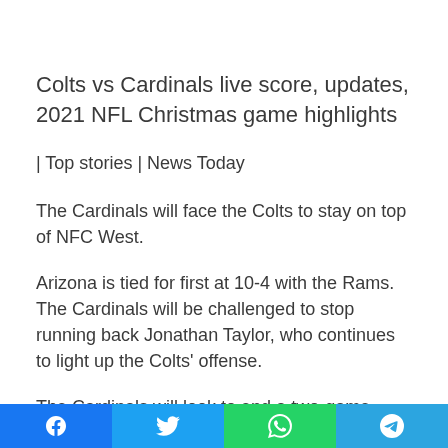Colts vs Cardinals live score, updates, 2021 NFL Christmas game highlights
| Top stories | News Today
The Cardinals will face the Colts to stay on top of NFC West.
Arizona is tied for first at 10-4 with the Rams. The Cardinals will be challenged to stop running back Jonathan Taylor, who continues to light up the Colts' offense.
The Cardinals will look to end a two-game losing streak after losses to the Rams and Lions. In Arizona's 30-12 loss to